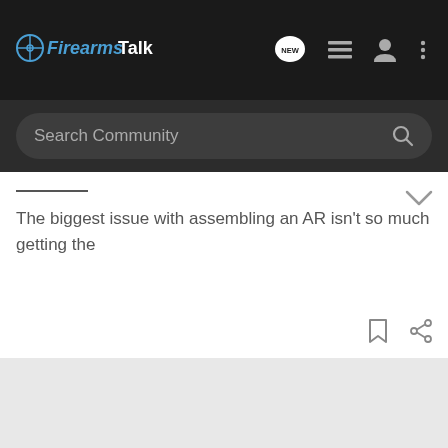FirearmsTalk
Search Community
The biggest issue with assembling an AR isn't so much getting the
[Figure (screenshot): Bass Pro Shops advertisement banner: HIGHEST-RATED GEAR with a star rating of 4.9 and a product image with a play button]